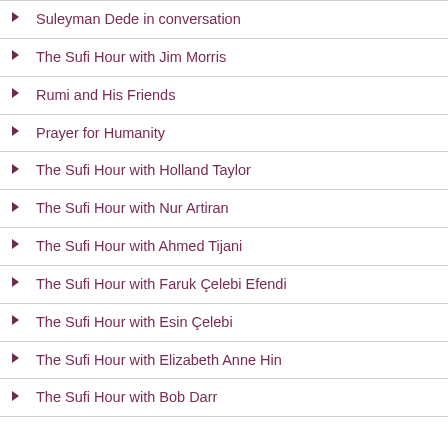Suleyman Dede in conversation
The Sufi Hour with Jim Morris
Rumi and His Friends
Prayer for Humanity
The Sufi Hour with Holland Taylor
The Sufi Hour with Nur Artiran
The Sufi Hour with Ahmed Tijani
The Sufi Hour with Faruk Çelebi Efendi
The Sufi Hour with Esin Çelebi
The Sufi Hour with Elizabeth Anne Hin
The Sufi Hour with Bob Darr